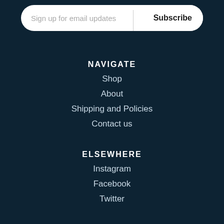Sign up for email updates | Subscribe
NAVIGATE
Shop
About
Shipping and Policies
Contact us
ELSEWHERE
Instagram
Facebook
Twitter